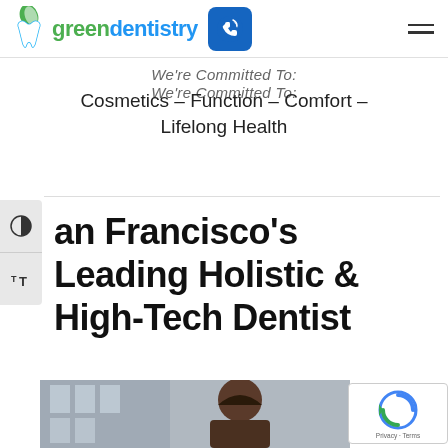[Figure (logo): Green Dentistry logo with leaf and tooth icon, green and blue text]
We're Committed To:
Cosmetics – Function – Comfort – Lifelong Health
San Francisco's Leading Holistic & High-Tech Dentist
[Figure (photo): Photo of dentist or patient in dental office setting, partially visible at bottom]
[Figure (other): reCAPTCHA badge with Privacy · Terms text]